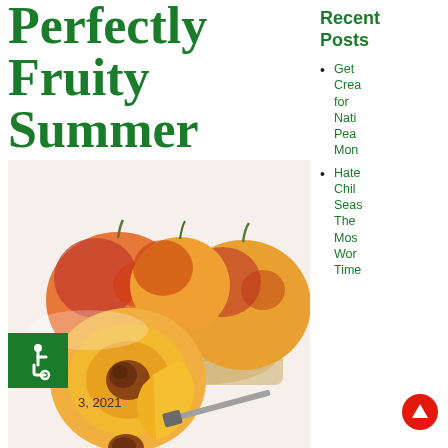Perfectly Fruity Summer
[Figure (photo): Close-up photo of peaches — whole peaches and sliced peaches with pit visible, along with a wicker basket and a knife on a white background]
[Figure (illustration): Green square accessibility icon with wheelchair symbol]
3, 2021
Recent Posts
Get Crea for Nati Pea Mon
Hate Chil Seas The Mos Wor Time